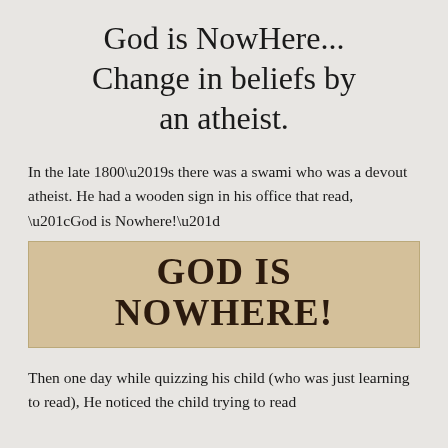God is NowHere... Change in beliefs by an atheist.
In the late 1800’s there was a swami who was a devout atheist. He had a wooden sign in his office that read, “God is Nowhere!”
[Figure (illustration): A vintage wooden sign with bold distressed serif lettering reading GOD IS NOWHERE! on a worn tan/beige background.]
Then one day while quizzing his child (who was just learning to read), He noticed the child trying to read...